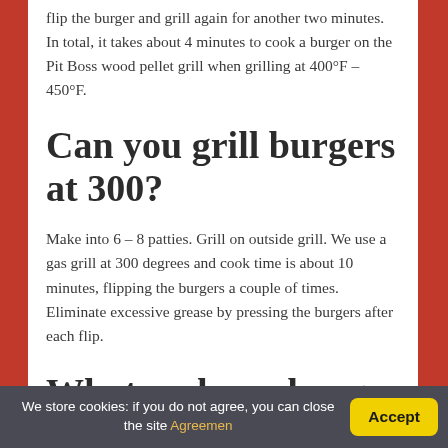flip the burger and grill again for another two minutes. In total, it takes about 4 minutes to cook a burger on the Pit Boss wood pellet grill when grilling at 400°F – 450°F.
Can you grill burgers at 300?
Make into 6 – 8 patties. Grill on outside grill. We use a gas grill at 300 degrees and cook time is about 10 minutes, flipping the burgers a couple of times. Eliminate excessive grease by pressing the burgers after each flip.
What makes a burger juicy?
We store cookies: if you do not agree, you can close the site Agreemen